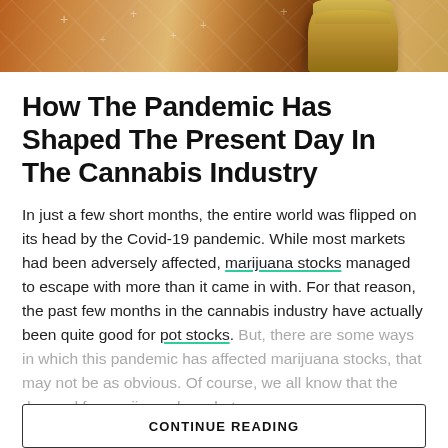[Figure (photo): Hero image showing coins and financial elements on a wooden surface with warm orange/brown tones and grid overlay patterns]
How The Pandemic Has Shaped The Present Day In The Cannabis Industry
In just a few short months, the entire world was flipped on its head by the Covid-19 pandemic. While most markets had been adversely affected, marijuana stocks managed to escape with more than it came in with. For that reason, the past few months in the cannabis industry have actually been quite good for pot stocks. But, there are some ways in which this pandemic has affected marijuana stocks, that may not be as obvious. Of course, we all know that the demand for marijuana has shot up...
CONTINUE READING